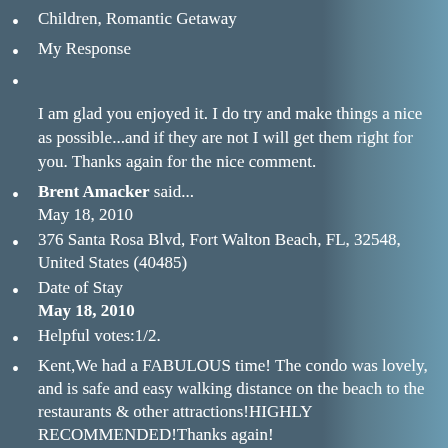Children, Romantic Getaway
My Response
I am glad you enjoyed it. I do try and make things a nice as possible...and if they are not I will get them right for you. Thanks again for the nice comment.
Brent Amacker said...
May 18, 2010
376 Santa Rosa Blvd, Fort Walton Beach, FL, 32548, United States (40485)
Date of Stay
May 18, 2010
Helpful votes:1/2.
Kent,We had a FABULOUS time! The condo was lovely, and is safe and easy walking distance on the beach to the restaurants & other attractions!HIGHLY RECOMMENDED!Thanks again!